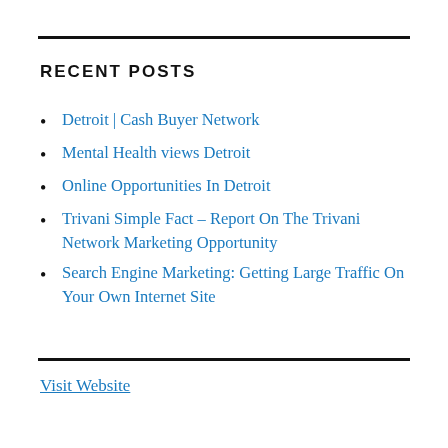RECENT POSTS
Detroit | Cash Buyer Network
Mental Health views Detroit
Online Opportunities In Detroit
Trivani Simple Fact – Report On The Trivani Network Marketing Opportunity
Search Engine Marketing: Getting Large Traffic On Your Own Internet Site
Visit Website